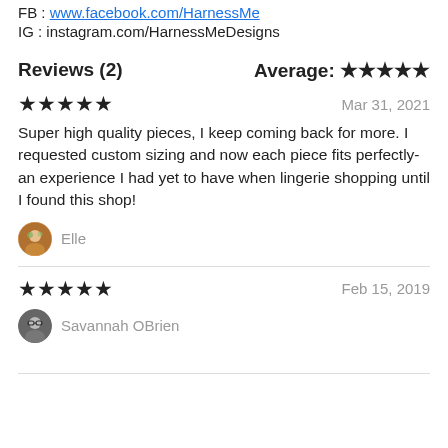FB : www.facebook.com/HarnessMe
IG : instagram.com/HarnessMeDesigns
Reviews (2)    Average: ★★★★★
★★★★★   Mar 31, 2021
Super high quality pieces, I keep coming back for more. I requested custom sizing and now each piece fits perfectly- an experience I had yet to have when lingerie shopping until I found this shop!
Elle
★★★★★   Feb 15, 2019
Savannah OBrien